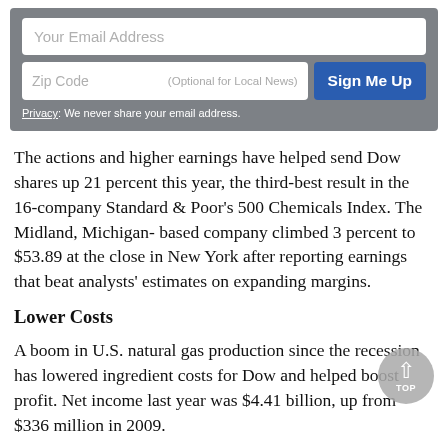[Figure (other): Email signup widget with 'Your Email Address' input field, 'Zip Code (Optional for Local News)' input, 'Sign Me Up' button, and privacy notice text on a grey background.]
The actions and higher earnings have helped send Dow shares up 21 percent this year, the third-best result in the 16-company Standard & Poor's 500 Chemicals Index. The Midland, Michigan- based company climbed 3 percent to $53.89 at the close in New York after reporting earnings that beat analysts' estimates on expanding margins.
Lower Costs
A boom in U.S. natural gas production since the recession has lowered ingredient costs for Dow and helped boost profit. Net income last year was $4.41 billion, up from $336 million in 2009.